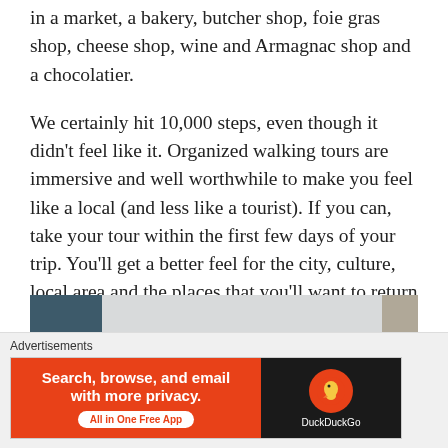in a market, a bakery, butcher shop, foie gras shop, cheese shop, wine and Armagnac shop and a chocolatier.
We certainly hit 10,000 steps, even though it didn't feel like it. Organized walking tours are immersive and well worthwhile to make you feel like a local (and less like a tourist). If you can, take your tour within the first few days of your trip. You'll get a better feel for the city, culture, local area and the places that you'll want to return to later.
[Figure (photo): Partial photo of an interior scene, mostly obscured]
Advertisements
Search, browse, and email with more privacy. All in One Free App — DuckDuckGo